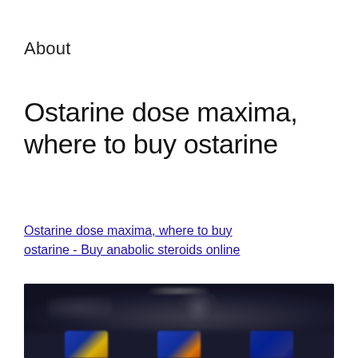About
Ostarine dose maxima, where to buy ostarine
Ostarine dose maxima, where to buy ostarine - Buy anabolic steroids online
[Figure (photo): Blurred dark promotional image showing supplement/steroid product bottles against a dark background with a central human silhouette figure]